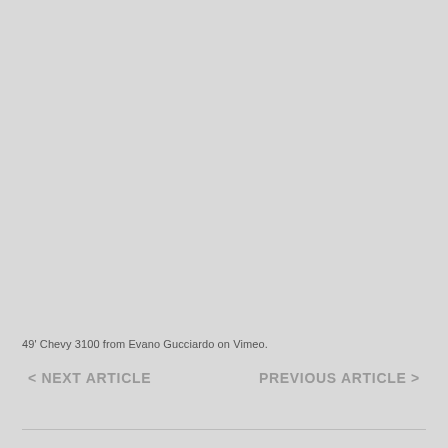49' Chevy 3100 from Evano Gucciardo on Vimeo.
< NEXT ARTICLE    PREVIOUS ARTICLE >